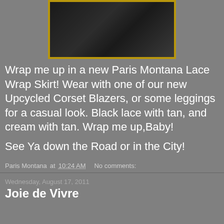[Figure (photo): Photo of a Paris Montana Lace Wrap Skirt displayed in a gold-framed mirror, dark patterned fabric visible]
Wrap me up in a new Paris Montana Lace Wrap Skirt! Wear with one of our new Upcycled Corset Blazers, or some leggings for a casual look. Black lace with tan, and cream with tan. Wrap me up,Baby!

See Ya down the Road or in the City!
Paris Montana at 10:24 AM   No comments:
Wednesday, August 17, 2011
Joie de Vivre